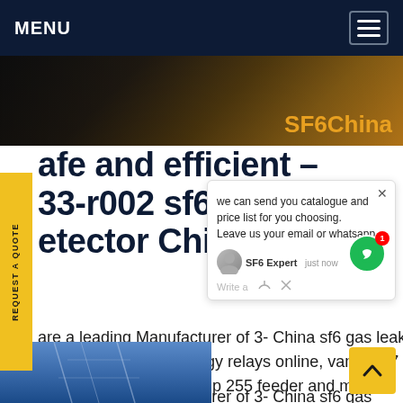MENU
[Figure (screenshot): Website hero image banner showing industrial equipment with 'SF6China' text overlay on dark background]
afe and efficient – 33-r002 sf6 gas etector Chile
we can send you catalogue and price list for you choosing. Leave us your email or whatsapp .
SF6 Expert   just now
Write a
are a leading Manufacturer of 3- China sf6 gas leak pointer sf6 gas detector, neider electric easergy p3t32 protection relays, easergy relays online, vamp 257 feeder and tor manager series, vamp 255 feeder and motor manager series, vamp 210Get price
[Figure (photo): Bottom strip showing blue sky with electrical transmission towers/pylons]